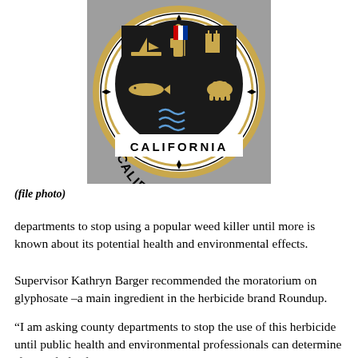[Figure (illustration): California State Seal showing a figure, bear, ship, fish, mountains, and the word CALIFORNIA at the bottom, on a gray background]
(file photo)
departments to stop using a popular weed killer until more is known about its potential health and environmental effects.
Supervisor Kathryn Barger recommended the moratorium on glyphosate –a main ingredient in the herbicide brand Roundup.
“I am asking county departments to stop the use of this herbicide until public health and environmental professionals can determine if it’s safe for further use in L.A. County and explore alternative methods for